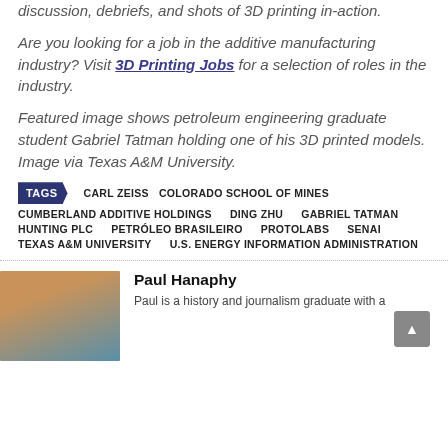discussion, debriefs, and shots of 3D printing in-action.
Are you looking for a job in the additive manufacturing industry? Visit 3D Printing Jobs for a selection of roles in the industry.
Featured image shows petroleum engineering graduate student Gabriel Tatman holding one of his 3D printed models. Image via Texas A&M University.
TAGS: CARL ZEISS | COLORADO SCHOOL OF MINES | CUMBERLAND ADDITIVE HOLDINGS | DING ZHU | GABRIEL TATMAN | HUNTING PLC | PETRÓLEO BRASILEIRO | PROTOLABS | SENAI | TEXAS A&M UNIVERSITY | U.S. ENERGY INFORMATION ADMINISTRATION
Paul Hanaphy
Paul is a history and journalism graduate with a